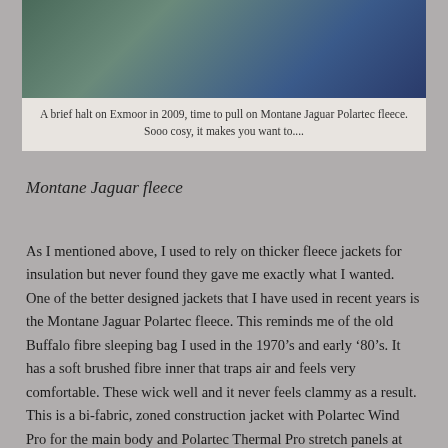[Figure (photo): Outdoor photo taken on Exmoor in 2009, showing a person in a Montane Jaguar Polartec fleece jacket against a moorland background.]
A brief halt on Exmoor in 2009, time to pull on Montane Jaguar Polartec fleece. Sooo cosy, it makes you want to....
Montane Jaguar fleece
As I mentioned above, I used to rely on thicker fleece jackets for insulation but never found they gave me exactly what I wanted. One of the better designed jackets that I have used in recent years is the Montane Jaguar Polartec fleece. This reminds me of the old Buffalo fibre sleeping bag I used in the 1970’s and early ‘80’s. It has a soft brushed fibre inner that traps air and feels very comfortable. These wick well and it never feels clammy as a result. This is a bi-fabric, zoned construction jacket with Polartec Wind Pro for the main body and Polartec Thermal Pro stretch panels at the side (the black panels in the above image). These help reduce the weight and bulk of the jacket while still providing insulation where it is most needed. There are other features- drawcord adjustable hem and collar, handwarmer pockets etc. Being entirely synthetic, 100% polyester the jacket retains a lot of heat if wet and is pretty...